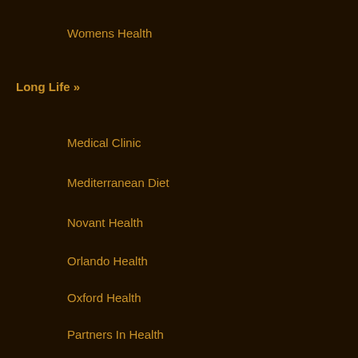Womens Health
Long Life »
Medical Clinic
Mediterranean Diet
Novant Health
Orlando Health
Oxford Health
Partners In Health
Spectrum Health
Weight Loss Tips